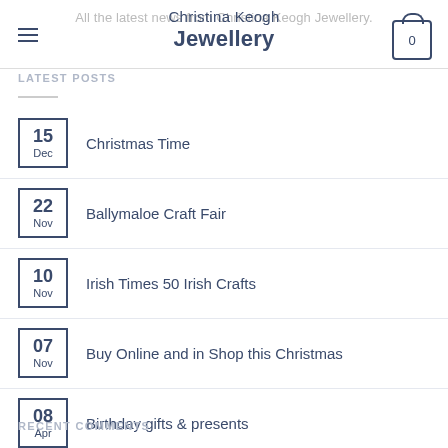Christina Keogh Jewellery
LATEST POSTS
15 Dec — Christmas Time
22 Nov — Ballymaloe Craft Fair
10 Nov — Irish Times 50 Irish Crafts
07 Nov — Buy Online and in Shop this Christmas
08 Apr — Birthday gifts & presents
RECENT COMMENTS